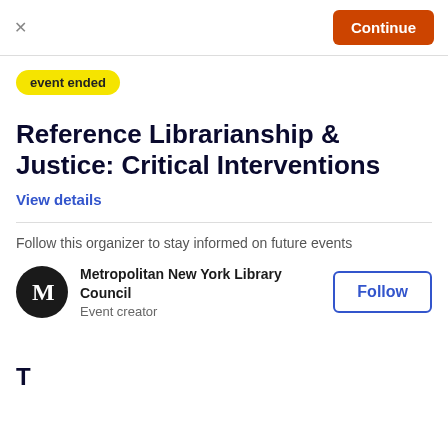× Continue
event ended
Reference Librarianship & Justice: Critical Interventions
View details
Follow this organizer to stay informed on future events
Metropolitan New York Library Council
Event creator
Follow